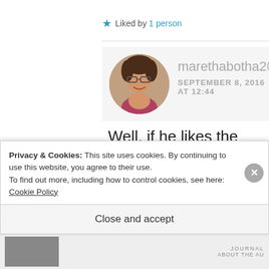Liked by 1 person
[Figure (photo): Circular avatar photo of a woman with glasses and dark hair]
marethabotha2
SEPTEMBER 8, 2016
AT 12:44
Well, if he likes the Chronicles of Narnia, he should be fine with Fauna Park Tales. Once he has read book
Privacy & Cookies: This site uses cookies. By continuing to use this website, you agree to their use.
To find out more, including how to control cookies, see here: Cookie Policy
Close and accept